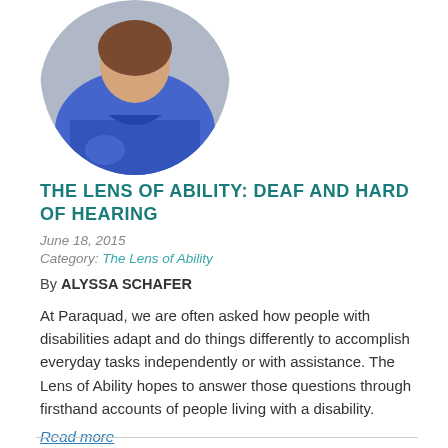[Figure (photo): Circular cropped photo of a woman in a blue top, partially visible at the top of the page.]
THE LENS OF ABILITY: DEAF AND HARD OF HEARING
June 18, 2015
Category: The Lens of Ability
By ALYSSA SCHAFER
At Paraquad, we are often asked how people with disabilities adapt and do things differently to accomplish everyday tasks independently or with assistance. The Lens of Ability hopes to answer those questions through firsthand accounts of people living with a disability.
Read more